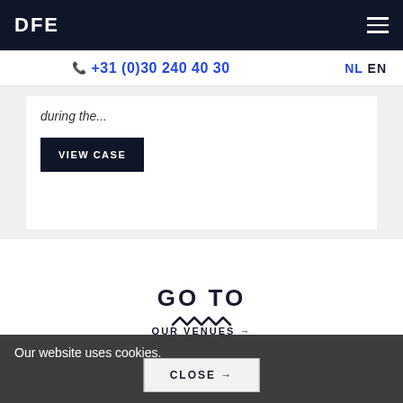DFE
+31 (0)30 240 40 30
NL EN
during the...
VIEW CASE
GO TO
OUR VENUES →
CATERING →
Our website uses cookies.
CLOSE →